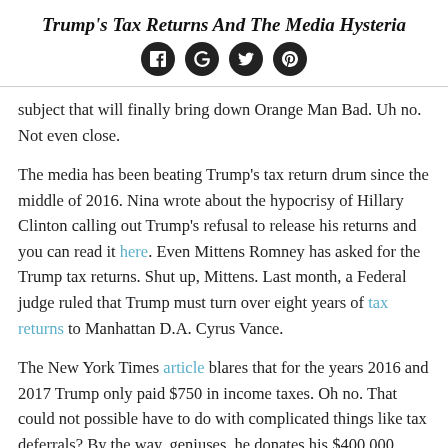Trump's Tax Returns And The Media Hysteria
[Figure (other): Social media share icons: Facebook, Google+, Twitter, Pinterest]
subject that will finally bring down Orange Man Bad. Uh no. Not even close.
The media has been beating Trump's tax return drum since the middle of 2016. Nina wrote about the hypocrisy of Hillary Clinton calling out Trump's refusal to release his returns and you can read it here. Even Mittens Romney has asked for the Trump tax returns. Shut up, Mittens. Last month, a Federal judge ruled that Trump must turn over eight years of tax returns to Manhattan D.A. Cyrus Vance.
The New York Times article blares that for the years 2016 and 2017 Trump only paid $750 in income taxes. Oh no. That could not possible have to do with complicated things like tax deferrals? By the way, geniuses, he donates his $400,000 salary.
I read the very, very, very long article. It throws around